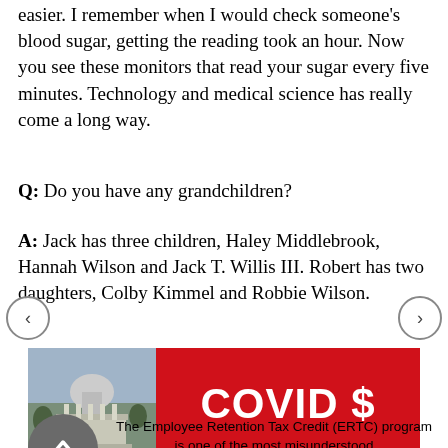easier. I remember when I would check someone's blood sugar, getting the reading took an hour. Now you see these monitors that read your sugar every five minutes. Technology and medical science has really come a long way.
Q: Do you have any grandchildren?
A: Jack has three children, Haley Middlebrook, Hannah Wilson and Jack T. Willis III. Robert has two daughters, Colby Kimmel and Robbie Wilson.
[Figure (photo): Advertisement banner with a photo of the US Capitol building on the left and a red background with white bold text reading 'COVID $' on the right.]
The Employee Retention Tax Credit (ERTC) program is one of the most misunderstood